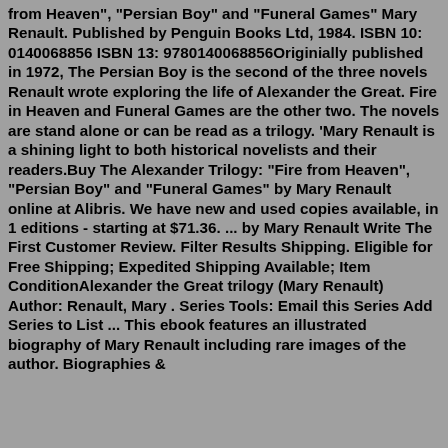from Heaven", "Persian Boy" and "Funeral Games" Mary Renault. Published by Penguin Books Ltd, 1984. ISBN 10: 0140068856 ISBN 13: 9780140068856Originially published in 1972, The Persian Boy is the second of the three novels Renault wrote exploring the life of Alexander the Great. Fire in Heaven and Funeral Games are the other two. The novels are stand alone or can be read as a trilogy. 'Mary Renault is a shining light to both historical novelists and their readers.Buy The Alexander Trilogy: "Fire from Heaven", "Persian Boy" and "Funeral Games" by Mary Renault online at Alibris. We have new and used copies available, in 1 editions - starting at $71.36. ... by Mary Renault Write The First Customer Review. Filter Results Shipping. Eligible for Free Shipping; Expedited Shipping Available; Item ConditionAlexander the Great trilogy (Mary Renault) Author: Renault, Mary . Series Tools: Email this Series Add Series to List ... This ebook features an illustrated biography of Mary Renault including rare images of the author. Biographies &